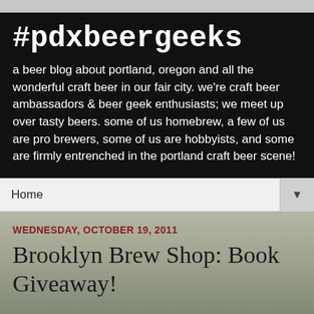#pdxbeergeeks
a beer blog about portland, oregon and all the wonderful craft beer in our fair city. we're craft beer ambassadors & beer geek enthusiasts; we meet up over tasty beers. some of us homebrew, a few of us are pro brewers, some of us are hobbyists, and some are firmly entrenched in the portland craft beer scene!
Home ▼
WEDNESDAY, OCTOBER 19, 2011
Brooklyn Brew Shop: Book Giveaway!